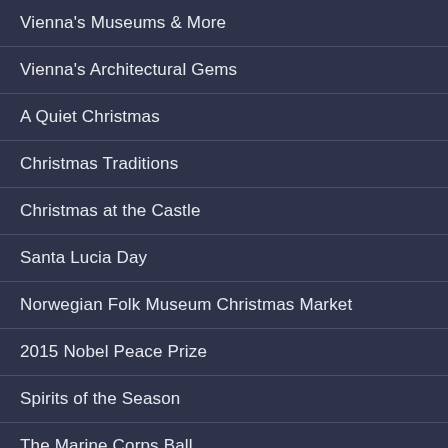Vienna's Museums & More
Vienna's Architectural Gems
A Quiet Christmas
Christmas Traditions
Christmas at the Castle
Santa Lucia Day
Norwegian Folk Museum Christmas Market
2015 Nobel Peace Prize
Spirits of the Season
The Marine Corps Ball
Thanksgiving Abroad
Tryvann Trek
Our Hytte (Cabin)